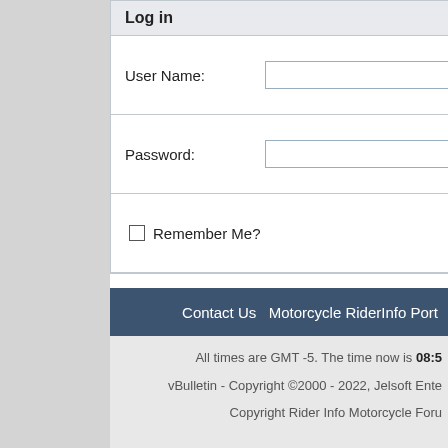Log in
| User Name: |  |
| Password: |  |
| Remember Me? |  |
Contact Us  Motorcycle RiderInfo Port
All times are GMT -5. The time now is 08:5
vBulletin - Copyright ©2000 - 2022, Jelsoft Ente
Copyright Rider Info Motorcycle Foru